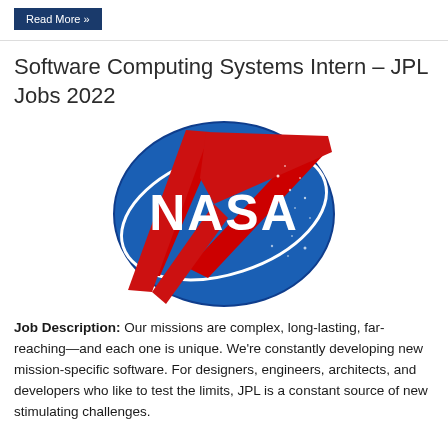Read More »
Software Computing Systems Intern – JPL Jobs 2022
[Figure (logo): NASA meatball logo — blue circle with white NASA text and red chevron/orbit lines]
Job Description: Our missions are complex, long-lasting, far-reaching—and each one is unique. We're constantly developing new mission-specific software. For designers, engineers, architects, and developers who like to test the limits, JPL is a constant source of new stimulating challenges.